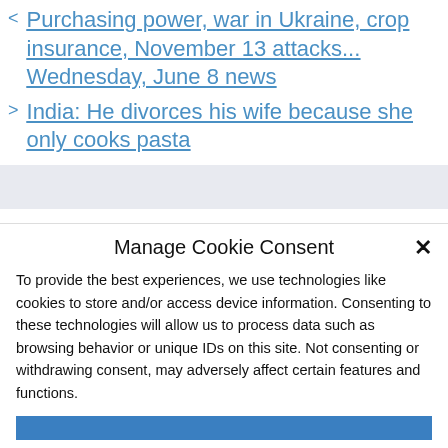< Purchasing power, war in Ukraine, crop insurance, November 13 attacks... Wednesday, June 8 news
> India: He divorces his wife because she only cooks pasta
Leave a Comment
Manage Cookie Consent
To provide the best experiences, we use technologies like cookies to store and/or access device information. Consenting to these technologies will allow us to process data such as browsing behavior or unique IDs on this site. Not consenting or withdrawing consent, may adversely affect certain features and functions.